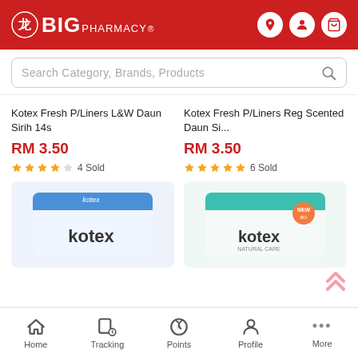[Figure (screenshot): BIG Pharmacy app header with red background, logo, and navigation icons (location, profile, cart)]
Search Category, Brands, Products
Kotex Fresh P/Liners L&W Daun Sirih 14s
RM 3.50
4 Sold
Kotex Fresh P/Liners Reg Scented Daun Si...
RM 3.50
6 Sold
[Figure (photo): Kotex panty liner product package left - white packaging with blue top]
[Figure (photo): Kotex panty liner product package right - white packaging with teal top and NEW badge]
Home  Tracking  Points  Profile  More